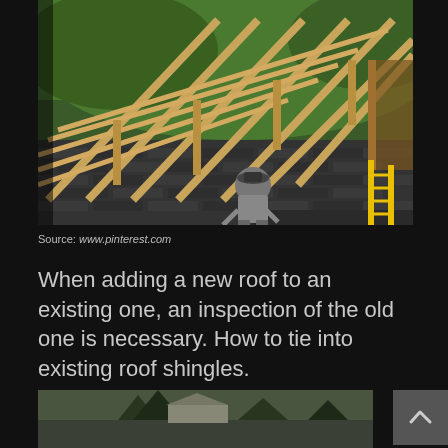[Figure (photo): Aerial view of a roof construction site showing wooden roof framing/rafters being installed over an existing shingled roof. A worker in gray is visible in the center working on the frame. Green lawn visible in background. Yellow ladder visible at lower right edge of the new framing area.]
Source: www.pinterest.com
When adding a new roof to an existing one, an inspection of the old one is necessary. How to tie into existing roof shingles.
[Figure (photo): Partial view of what appears to be a house exterior with trees in background, only the top portion visible at bottom of page.]